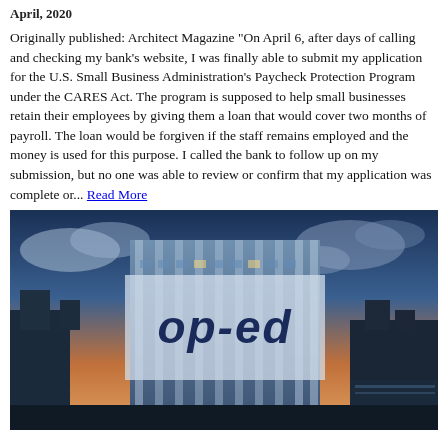April, 2020
Originally published: Architect Magazine "On April 6, after days of calling and checking my bank's website, I was finally able to submit my application for the U.S. Small Business Administration's Paycheck Protection Program under the CARES Act. The program is supposed to help small businesses retain their employees by giving them a loan that would cover two months of payroll. The loan would be forgiven if the staff remains employed and the money is used for this purpose. I called the bank to follow up on my submission, but no one was able to review or confirm that my application was complete or... Read More
[Figure (photo): Photo of a modern glass office building at dusk with city skyline in background, overlaid with a semi-transparent banner reading 'op-ed' in large bold italic letters]